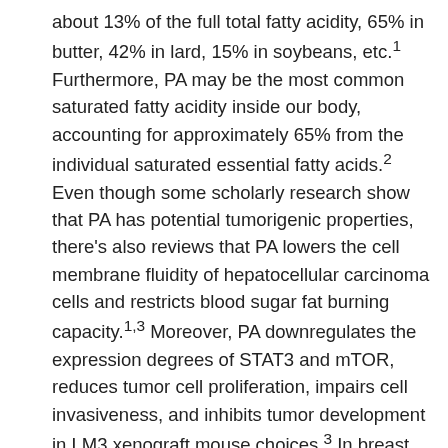about 13% of the full total fatty acidity, 65% in butter, 42% in lard, 15% in soybeans, etc.1 Furthermore, PA may be the most common saturated fatty acidity inside our body, accounting for approximately 65% from the individual saturated essential fatty acids.2 Even though some scholarly research show that PA has potential tumorigenic properties, there's also reviews that PA lowers the cell membrane fluidity of hepatocellular carcinoma cells and restricts blood sugar fat burning capacity.1,3 Moreover, PA downregulates the expression degrees of STAT3 and mTOR, reduces tumor cell proliferation, impairs cell invasiveness, and inhibits tumor development in LM3 xenograft mouse choices.3 In breast cancer, PA induces a different transcription program functionally, which reduces the expressions of HER3 and HER2.1,4 Additionally, PA has an important function in the secretion of exosomes from tumor cells.5 Selenium can be an essential trace element for our body,